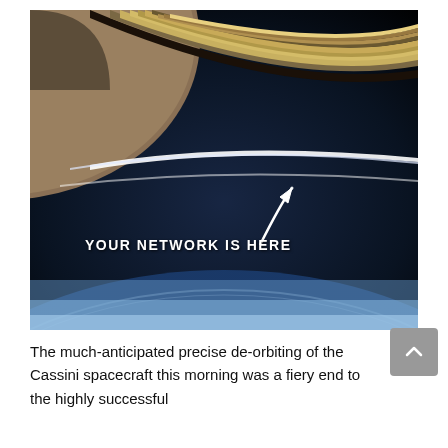[Figure (photo): Famous NASA Cassini spacecraft image showing Saturn's rings from above with Earth visible as a tiny dot in the dark space below the rings. Overlaid white text reads 'YOUR NETWORK IS HERE' with a white arrow pointing to a tiny dot (Earth). The bottom portion shows Earth's atmosphere as a pale blue arc.]
The much-anticipated precise de-orbiting of the Cassini spacecraft this morning was a fiery end to the highly successful